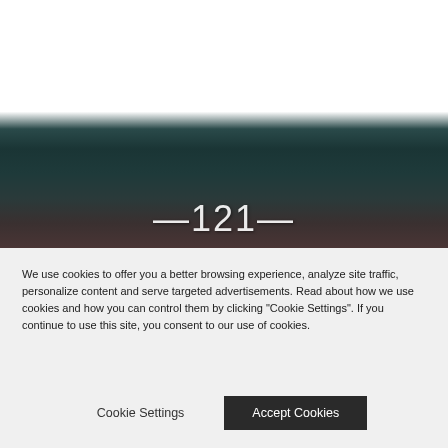[Figure (photo): Dark atmospheric background image with the number 121 displayed in large white bold text with bracket-like decorations on either side, positioned in the lower portion of the image area.]
We use cookies to offer you a better browsing experience, analyze site traffic, personalize content and serve targeted advertisements. Read about how we use cookies and how you can control them by clicking "Cookie Settings". If you continue to use this site, you consent to our use of cookies.